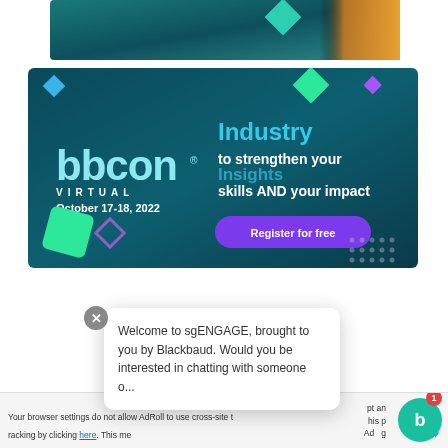[Figure (illustration): Top banner: dark teal background with a teal geometric diamond shape and a person in a yellow jacket on the right side]
[Figure (illustration): bbcon VIRTUAL October 17-18, 2022 advertisement banner on dark teal background with geometric shapes. Text reads: Industry Insights to strengthen your skills AND your impact. Purple 'Register for free' button.]
Welcome to sgENGAGE, brought to you by Blackbaud. Would you be interested in chatting with someone o...
Your browser settings do not allow AdRoll to use cross-site tracking by clicking here. This me... ept an... is p... Ad... g